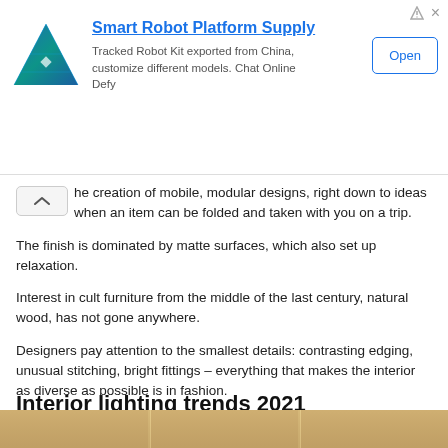[Figure (other): Advertisement banner for Smart Robot Platform Supply with triangular blue/teal logo, heading, description text, and Open button]
he creation of mobile, modular designs, right down to ideas when an item can be folded and taken with you on a trip.
The finish is dominated by matte surfaces, which also set up relaxation.
Interest in cult furniture from the middle of the last century, natural wood, has not gone anywhere.
Designers pay attention to the smallest details: contrasting edging, unusual stitching, bright fittings – everything that makes the interior as diverse as possible is in fashion.
Interior lighting trends 2021
[Figure (photo): Bottom strip showing partial image of interior lighting scene]